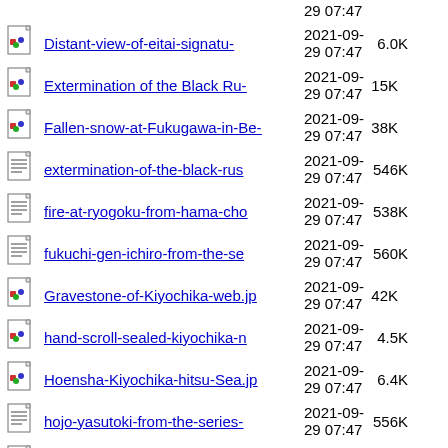29 07:47 (partial top row)
Distant-view-of-eitai-signatu-  2021-09-29 07:47  6.0K
Extermination of the Black Ru-  2021-09-29 07:47  15K
Fallen-snow-at-Fukugawa-in-Be-  2021-09-29 07:47  38K
extermination-of-the-black-rus  2021-09-29 07:47  546K
fire-at-ryogoku-from-hama-cho  2021-09-29 07:47  538K
fukuchi-gen-ichiro-from-the-se  2021-09-29 07:47  560K
Gravestone-of-Kiyochika-web.jp  2021-09-29 07:47  42K
hand-scroll-sealed-kiyochika-n  2021-09-29 07:47  4.5K
Hoensha-Kiyochika-hitsu-Sea.jp  2021-09-29 07:47  6.4K
hojo-yasutoki-from-the-series-  2021-09-29 07:47  556K
Hosensha-faces-signature-150h-  2021-09-29 07:47  2.6K